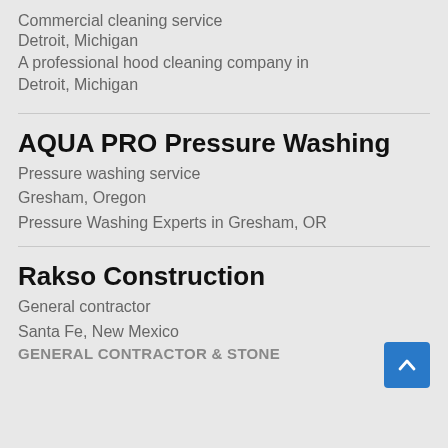Commercial cleaning service
Detroit, Michigan
A professional hood cleaning company in Detroit, Michigan
AQUA PRO Pressure Washing
Pressure washing service
Gresham, Oregon
Pressure Washing Experts in Gresham, OR
Rakso Construction
General contractor
Santa Fe, New Mexico
GENERAL CONTRACTOR & STONE